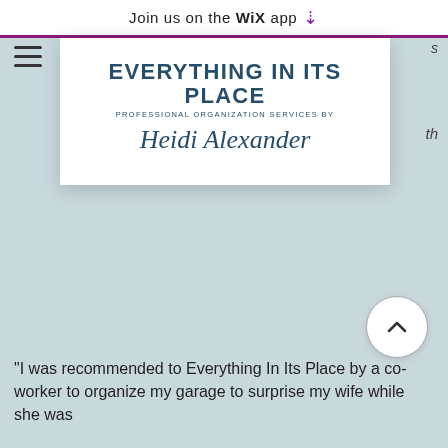Join us on the WiX app ⬇
[Figure (logo): Everything In Its Place logo — bold dark teal uppercase text 'EVERYTHING IN ITS PLACE', subtitle 'PROFESSIONAL ORGANIZATION SERVICES BY', cursive signature 'Heidi Alexander']
Mr. Pleasant, SC
"I was recommended to Everything In Its Place by a co-worker to organize my garage to surprise my wife while she was